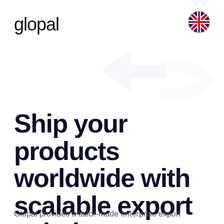glopal
[Figure (logo): UK flag (Union Jack) circle icon in top right corner]
[Figure (illustration): Faint light-blue watermark-style graphic of abstract arrow/logo shapes in background]
Ship your products worldwide with scalable export solutions
Glopal provides a tailor-made enterprise export